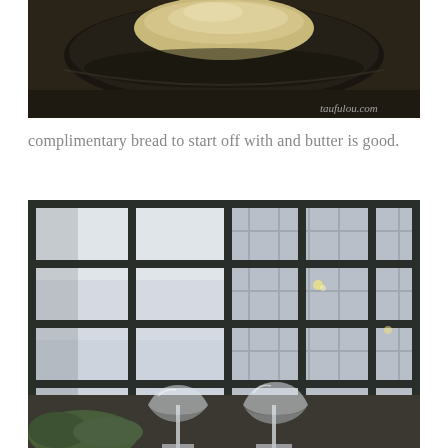[Figure (photo): Close-up food photo of a bread roll served with butter on a dark plate, watermark 'taufulou.com' in bottom right corner]
complimentary bread to start off with and butter is good.
[Figure (photo): Interior restaurant photo showing large grid windows with city building visible outside, two wine glasses in the foreground on a table]